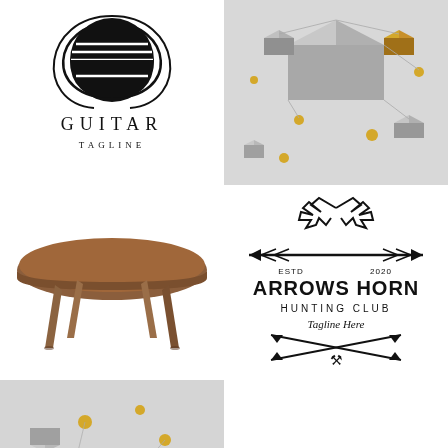[Figure (logo): Guitar logo with circular guitar body showing horizontal strings, text GUITAR in spaced serif caps below, TAGLINE in smaller caps beneath]
[Figure (illustration): 3D geometric illustration of floating silver and gold cubes of various sizes connected by thin lines on light gray gradient background]
[Figure (illustration): 3D illustration of a round brown wooden coffee table with four angled wooden legs on white background]
[Figure (logo): Arrows Horn Hunting Club logo with crossed arrows, deer antlers, ESTD 2020, ARROWS HORN in bold, HUNTING CLUB, Tagline Here in script, and crossed axes at bottom, all black on white]
[Figure (illustration): 3D geometric illustration of floating silver and gold cubes and spheres on light gray background, similar to top right but different arrangement]
[Figure (illustration): Partial view of a circular metallic ring or hoop object on white/gray background, only top arch visible]